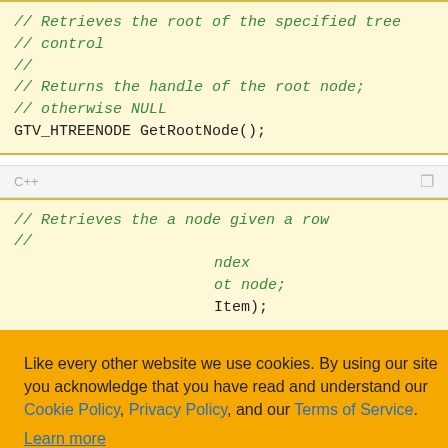// Retrieves the root of the specified tree control
//
// Returns the handle of the root node; otherwise NULL
GTV_HTREENODE GetRootNode();
C++
// Retrieves the a node given a row
//
// ... index
// ... ot node;
// ... Item);
// hitem : Specifies the handle of the
Like every other website we use cookies. By using our site you acknowledge that you have read and understand our Cookie Policy, Privacy Policy, and our Terms of Service.
Learn more
Ask me later | Decline | Allow cookies